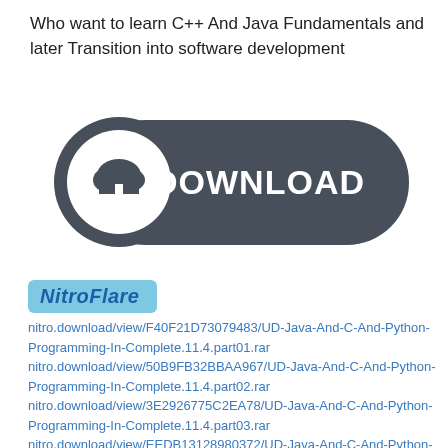Who want to learn C++ And Java Fundamentals and later Transition into software development
[Figure (illustration): Dark grey rounded rectangle download button with a circular icon on the left showing a cloud with a downward arrow, and bold white text 'DOWNLOAD' on the right.]
[Figure (logo): NitroFlare logo: italic bold text 'NitroFlare' in blue on a light blue rounded rectangle background.]
nitro.download/view/F40F21D73079483/UD-Java-And-C-And-Python-Programming-In-Complete.11.4.part01.rar
nitro.download/view/50B9FB32BBAA967/UD-Java-And-C-And-Python-Programming-In-Complete.11.4.part02.rar
nitro.download/view/3E2926775C2EA78/UD-Java-And-C-And-Python-Programming-In-Complete.11.4.part03.rar
nitro.download/view/EEDB13128980372/UD-Java-And-C-And-Python-Programming-In-Complete.11.4.part04.rar